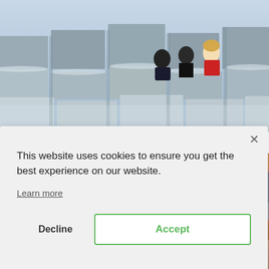[Figure (photo): Three people (seen from behind) sitting on large concrete blocks/slabs, resembling a memorial with grey stepped stone blocks]
[Figure (photo): Partial view of a blurred background photo on the right side, warm tones]
This website uses cookies to ensure you get the best experience on our website.
Learn more
Decline
Accept
[Figure (photo): Partial blurred photo at the bottom of the page]